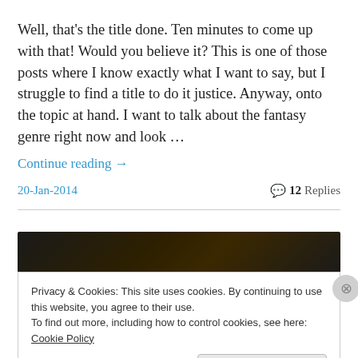Well, that's the title done. Ten minutes to come up with that! Would you believe it? This is one of those posts where I know exactly what I want to say, but I struggle to find a title to do it justice. Anyway, onto the topic at hand. I want to talk about the fantasy genre right now and look …
Continue reading →
20-Jan-2014
12 Replies
[Figure (photo): Dark moody image, partially visible at top of lower section]
Privacy & Cookies: This site uses cookies. By continuing to use this website, you agree to their use.
To find out more, including how to control cookies, see here: Cookie Policy
Close and accept